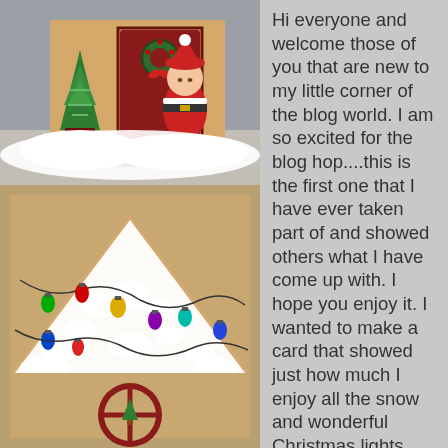[Figure (photo): Christmas card craft photo showing a Santa Claus figure peeking around a dark red door with a wreath, a glittery Christmas tree in a pot, and artificial snow at the bottom]
[Figure (photo): Close-up photo of a handmade Christmas house card roof covered in white fluffy snow texture with colorful Christmas light ornaments (green, red, yellow, purple, blue) strung across it, and a circular window with Christmas tree visible at bottom]
Hi everyone and welcome those of you that are new to my little corner of the blog world. I am so excited for the blog hop....this is the first one that I have ever taken part of and showed others what I have come up with. I hope you enjoy it. I wanted to make a card that showed just how much I enjoy all the snow and wonderful Christmas lights